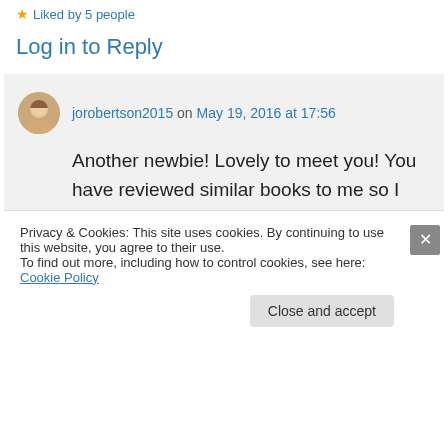Liked by 5 people
Log in to Reply
jorobertson2015 on May 19, 2016 at 17:56
Another newbie! Lovely to meet you! You have reviewed similar books to me so I was interested to see your blog. I love blogging- met so many nice people who are so friendly and supportive to new bloggers 😘
Privacy & Cookies: This site uses cookies. By continuing to use this website, you agree to their use.
To find out more, including how to control cookies, see here: Cookie Policy
Close and accept